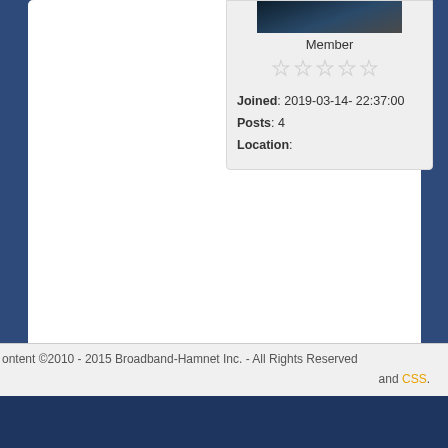[Figure (photo): User avatar image, dark blue/gray tones, partially cropped at top]
Member
[Figure (other): Five empty/unfilled star rating icons in light gray]
Joined: 2019-03-14- 22:37:00
Posts: 4
Location:
Powered by
SPONSORED AD:
ontent ©2010 - 2015 Broadband-Hamnet Inc. - All Rights Reserved
and CSS.